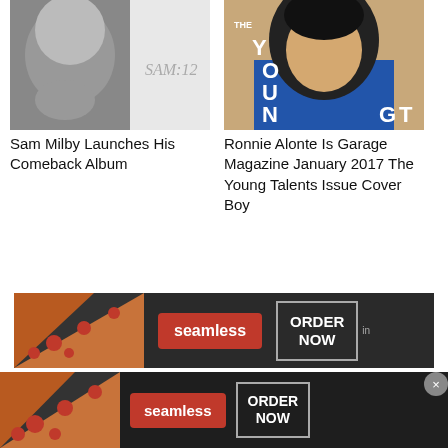[Figure (photo): Black and white portrait photo with text 'SAM:12' — Sam Milby album cover]
Sam Milby Launches His Comeback Album
[Figure (photo): Color portrait of Ronnie Alonte with 'THE YOUNG' text overlay — Garage Magazine January 2017 cover]
Ronnie Alonte Is Garage Magazine January 2017 The Young Talents Issue Cover Boy
[Figure (photo): Seamless food delivery advertisement banner — pizza image, seamless logo in red, ORDER NOW button]
[Figure (photo): Seamless food delivery advertisement banner (large) — pizza image, seamless logo in red, ORDER NOW button with close X]